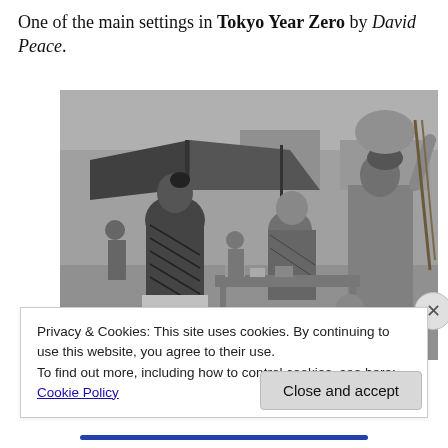One of the main settings in Tokyo Year Zero by David Peace.
[Figure (photo): Black and white photograph of a bustling outdoor market scene in post-war Tokyo, showing people in traditional Japanese clothing among market stalls with tarpaulin covers, one person carrying a large bundle on their head.]
Privacy & Cookies: This site uses cookies. By continuing to use this website, you agree to their use.
To find out more, including how to control cookies, see here: Cookie Policy